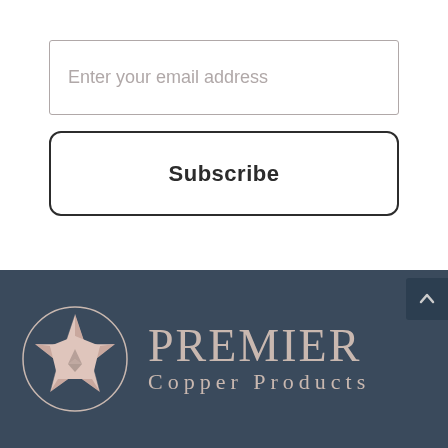[Figure (other): Email input field with placeholder text 'Enter your email address']
[Figure (other): Subscribe button with bold text 'Subscribe']
[Figure (logo): Premier Copper Products logo: circle with star icon on left, company name on right in serif font on dark navy background]